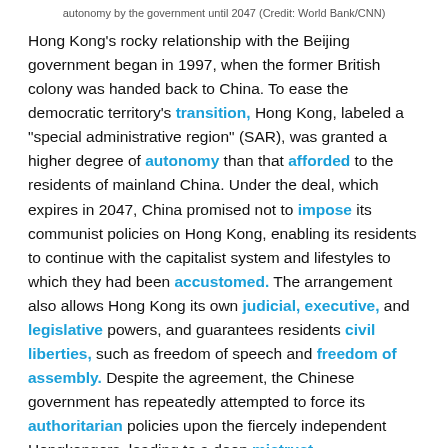autonomy by the government until 2047 (Credit: World Bank/CNN)
Hong Kong's rocky relationship with the Beijing government began in 1997, when the former British colony was handed back to China. To ease the democratic territory's transition, Hong Kong, labeled a "special administrative region" (SAR), was granted a higher degree of autonomy than that afforded to the residents of mainland China. Under the deal, which expires in 2047, China promised not to impose its communist policies on Hong Kong, enabling its residents to continue with the capitalist system and lifestyles to which they had been accustomed. The arrangement also allows Hong Kong its own judicial, executive, and legislative powers, and guarantees residents civil liberties, such as freedom of speech and freedom of assembly. Despite the agreement, the Chinese government has repeatedly attempted to force its authoritarian policies upon the fiercely independent Hongkongers, leading to a deep mistrust of the...